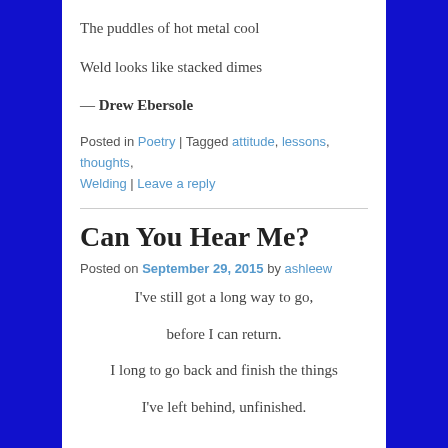The puddles of hot metal cool
Weld looks like stacked dimes
— Drew Ebersole
Posted in Poetry | Tagged attitude, lessons, thoughts, Welding | Leave a reply
Can You Hear Me?
Posted on September 29, 2015 by ashleew
I've still got a long way to go,
before I can return.
I long to go back and finish the things
I've left behind, unfinished.